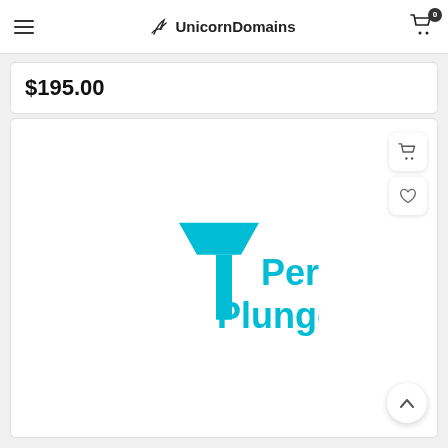UnicornDomains
$195.00
[Figure (logo): Perfect Plunger logo: cyan/turquoise plunger icon with text 'Perfect Plunger' in matching cyan color]